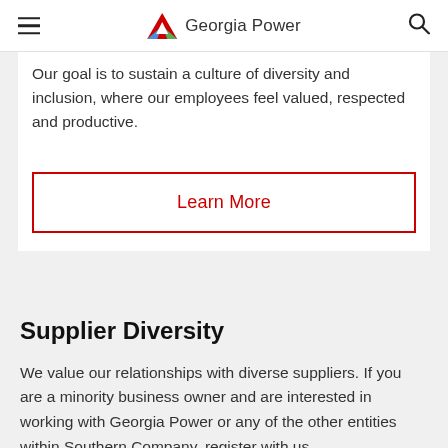Georgia Power
Our goal is to sustain a culture of diversity and inclusion, where our employees feel valued, respected and productive.
Learn More
Supplier Diversity
We value our relationships with diverse suppliers. If you are a minority business owner and are interested in working with Georgia Power or any of the other entities within Southern Company, register with us.